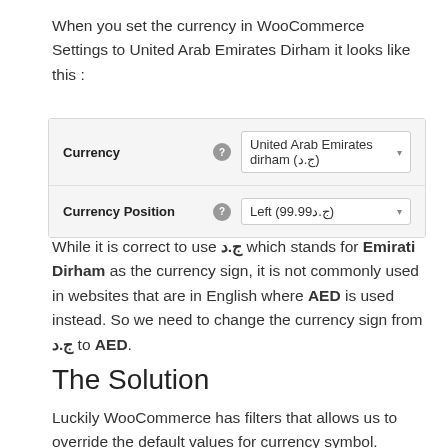When you set the currency in WooCommerce Settings to United Arab Emirates Dirham it looks like this :
[Figure (screenshot): WooCommerce settings panel showing Currency set to 'United Arab Emirates dirham (ج.د)' and Currency Position set to 'Left (99.99ج.د)']
While it is correct to use ج.د which stands for Emirati Dirham as the currency sign, it is not commonly used in websites that are in English where AED is used instead. So we need to change the currency sign from ج.د to AED.
The Solution
Luckily WooCommerce has filters that allows us to override the default values for currency symbol. Pasting this code in your theme's functions.php (this...